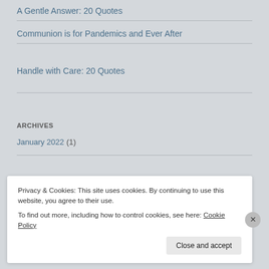A Gentle Answer: 20 Quotes
Communion is for Pandemics and Ever After
Handle with Care: 20 Quotes
ARCHIVES
January 2022 (1)
Privacy & Cookies: This site uses cookies. By continuing to use this website, you agree to their use.
To find out more, including how to control cookies, see here: Cookie Policy